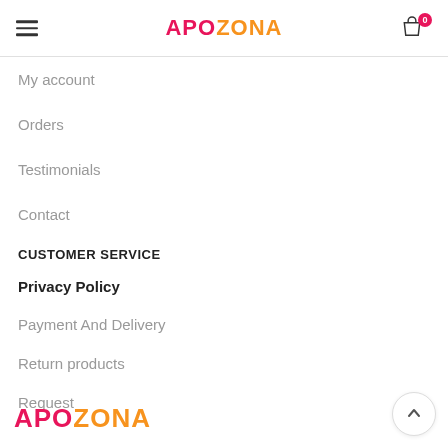APOZONA
My account
Orders
Testimonials
Contact
CUSTOMER SERVICE
Privacy Policy
Payment And Delivery
Return products
Request
[Figure (logo): APOZONA logo in pink and orange at the bottom left]
[Figure (other): Back to top button, circular with upward chevron arrow]